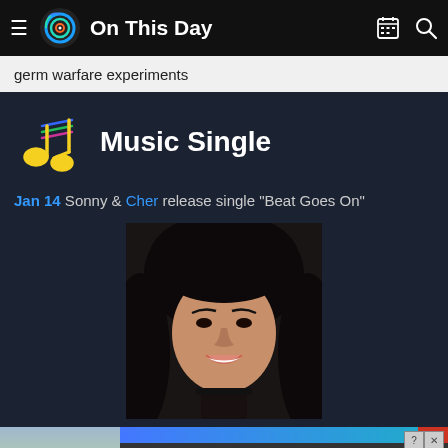On This Day
germ warfare experiments
Music Single
Jan 14 Sonny & Cher release single "Beat Goes On"
[Figure (photo): Photo of Cher with long black wavy hair, smiling, wearing a black choker]
[Figure (screenshot): Mobile game advertisement banner at bottom: Hold and Move game ad with blue/red progress bar and winter landscape background]